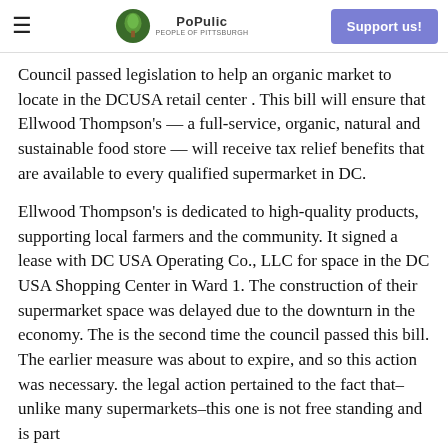≡  PoPulic  Support us!
Council passed legislation to help an organic market to locate in the DCUSA retail center . This bill will ensure that Ellwood Thompson's — a full-service, organic, natural and sustainable food store — will receive tax relief benefits that are available to every qualified supermarket in DC.
Ellwood Thompson's is dedicated to high-quality products, supporting local farmers and the community. It signed a lease with DC USA Operating Co., LLC for space in the DC USA Shopping Center in Ward 1. The construction of their supermarket space was delayed due to the downturn in the economy. The is the second time the council passed this bill. The earlier measure was about to expire, and so this action was necessary. the legal action pertained to the fact that–unlike many supermarkets–this one is not free standing and is part